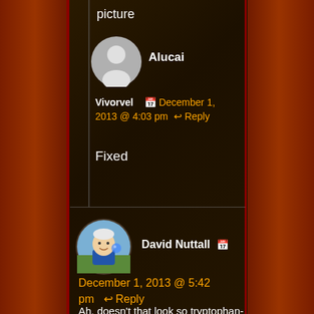picture
Alucai
Vivorvel  December 1, 2013 @ 4:03 pm  ↩ Reply
Fixed
David Nuttall  📅
December 1, 2013 @ 5:42 pm  ↩ Reply
Ah, doesn't that look so tryptophan-